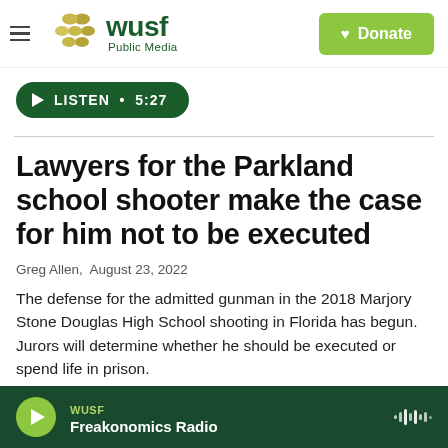[Figure (logo): WUSF Public Media logo with decorative dots and text]
LISTEN • 5:27
Lawyers for the Parkland school shooter make the case for him not to be executed
Greg Allen,  August 23, 2022
The defense for the admitted gunman in the 2018 Marjory Stone Douglas High School shooting in Florida has begun. Jurors will determine whether he should be executed or spend life in prison.
WUSF Freakonomics Radio